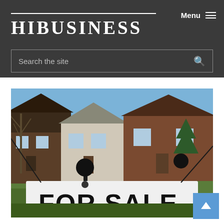HIBUSINESS
Menu
Search the site
[Figure (photo): A real estate 'FOR SALE' sign in foreground with suburban brick houses in background under a blue sky with bare trees visible]